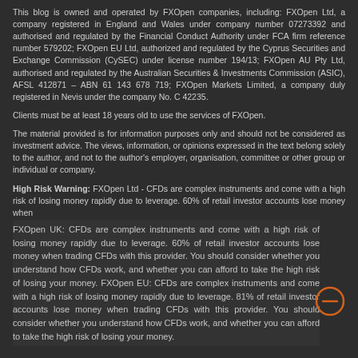This blog is owned and operated by FXOpen companies, including: FXOpen Ltd, a company registered in England and Wales under company number 07273392 and authorised and regulated by the Financial Conduct Authority under FCA firm reference number 579202; FXOpen EU Ltd, authorized and regulated by the Cyprus Securities and Exchange Commission (CySEC) under license number 194/13; FXOpen AU Pty Ltd, authorised and regulated by the Australian Securities & Investments Commission (ASIC), AFSL 412871 – ABN 61 143 678 719; FXOpen Markets Limited, a company duly registered in Nevis under the company No. C 42235.
Clients must be at least 18 years old to use the services of FXOpen.
The material provided is for information purposes only and should not be considered as investment advice. The views, information, or opinions expressed in the text belong solely to the author, and not to the author's employer, organisation, committee or other group or individual or company.
High Risk Warning: FXOpen Ltd - CFDs are complex instruments and come with a high risk of losing money rapidly due to leverage. 60% of retail investor accounts lose money when
FXOpen UK: CFDs are complex instruments and come with a high risk of losing money rapidly due to leverage. 60% of retail investor accounts lose money when trading CFDs with this provider. You should consider whether you understand how CFDs work, and whether you can afford to take the high risk of losing your money. FXOpen EU: CFDs are complex instruments and come with a high risk of losing money rapidly due to leverage. 81% of retail investor accounts lose money when trading CFDs with this provider. You should consider whether you understand how CFDs work, and whether you can afford to take the high risk of losing your money.
[Figure (other): Orange circle with minus/dash icon — a collapse or close button]